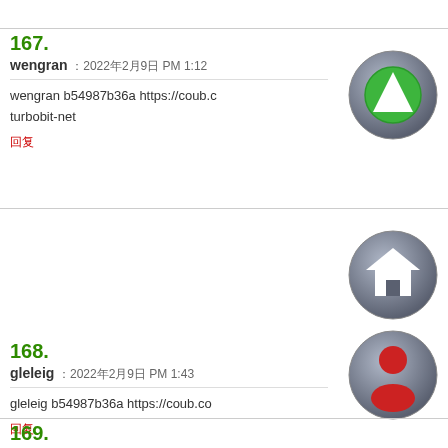167. wengran : 2022年2月9日 PM 1:12
wengran b54987b36a https://coub.com/turbobit-net
回复
168. gleleig : 2022年2月9日 PM 1:43
gleleig b54987b36a https://coub.co
回复
169.